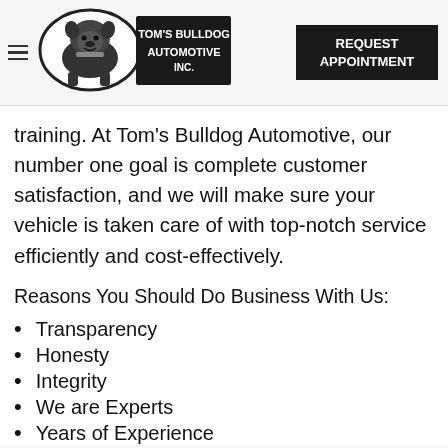[Figure (logo): Tom's Bulldog Automotive Inc. logo with bulldog mascot in oval frame and dark banner with company name]
REQUEST APPOINTMENT
training. At Tom's Bulldog Automotive, our number one goal is complete customer satisfaction, and we will make sure your vehicle is taken care of with top-notch service efficiently and cost-effectively.
Reasons You Should Do Business With Us:
Transparency
Honesty
Integrity
We are Experts
Years of Experience